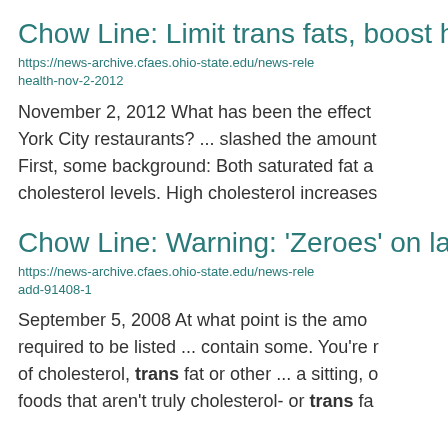Chow Line: Limit trans fats, boost he
https://news-archive.cfaes.ohio-state.edu/news-rele health-nov-2-2012
November 2, 2012 What has been the effect York City restaurants? ... slashed the amount First, some background: Both saturated fat a cholesterol levels. High cholesterol increases
Chow Line: Warning: 'Zeroes' on lab
https://news-archive.cfaes.ohio-state.edu/news-rele add-91408-1
September 5, 2008 At what point is the amo required to be listed ... contain some. You're r of cholesterol, trans fat or other ... a sitting, o foods that aren't truly cholesterol- or trans fa